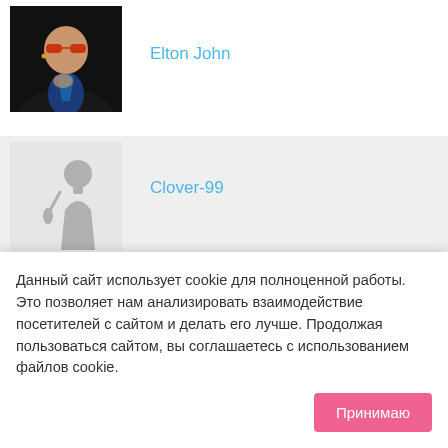[Figure (photo): Photo of Elton John wearing red tinted glasses and a black jacket with blue shirt, hand on chest, dark background]
Elton John
[Figure (illustration): Placeholder silhouette icon of a person singing at a microphone, grey on light grey background]
Clover-99
Данный сайт использует cookie для полноценной работы. Это позволяет нам анализировать взаимодействие посетителей с сайтом и делать его лучше. Продолжая пользоваться сайтом, вы соглашаетесь с использованием файлов cookie.
Принимаю